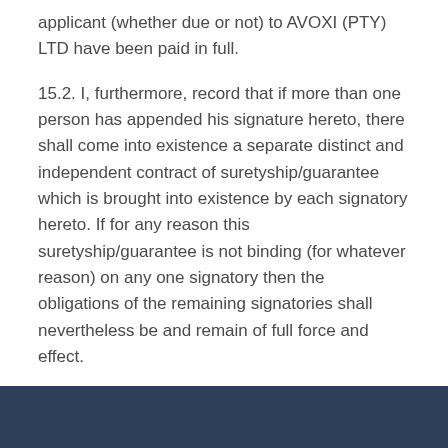applicant (whether due or not) to AVOXI (PTY) LTD have been paid in full.
15.2. I, furthermore, record that if more than one person has appended his signature hereto, there shall come into existence a separate distinct and independent contract of suretyship/guarantee which is brought into existence by each signatory hereto. If for any reason this suretyship/guarantee is not binding (for whatever reason) on any one signatory then the obligations of the remaining signatories shall nevertheless be and remain of full force and effect.
Updated: 25 JUNE 2021